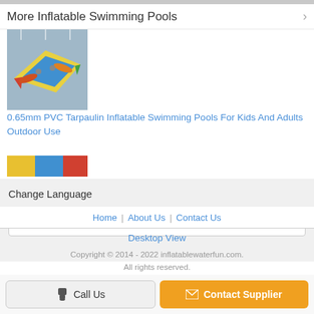More Inflatable Swimming Pools
[Figure (photo): Colorful inflatable swimming pool in a large indoor space, showing yellow, red, green, and blue sections]
0.65mm PVC Tarpaulin Inflatable Swimming Pools For Kids And Adults Outdoor Use
[Figure (photo): Partial view of a second product image showing colorful inflatable pool]
Change Language
Select Language
Home | About Us | Contact Us
Desktop View
Copyright © 2014 - 2022 inflatablewaterfun.com. All rights reserved.
Call Us
Contact Supplier